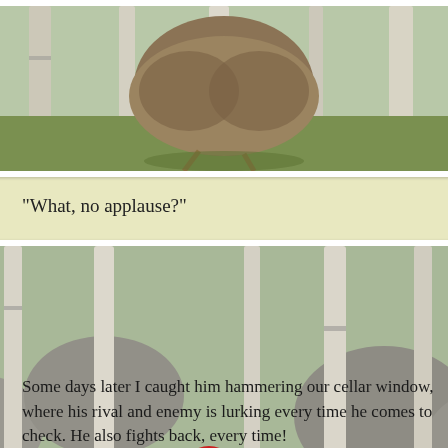[Figure (photo): Partial top view of a bird (pheasant or grouse) in a woodland setting with birch trees and grass, only bottom portion visible]
"What, no applause?"
[Figure (photo): A male ring-necked pheasant with red face and colorful plumage standing on mossy ground in a birch woodland]
Some days later I caught him hammering our cellar window, where his rival and enemy is lurking every time he comes to check. He also fights back, every time!